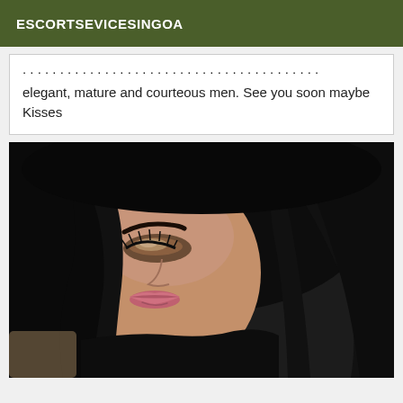ESCORTSEVICESINGOA
elegant, mature and courteous men. See you soon maybe Kisses
[Figure (photo): Close-up photo of a young woman with long dark hair, eyes closed or looking down, smiling, wearing dark clothing. The image is cropped to show mainly her face and hair from an angled perspective.]